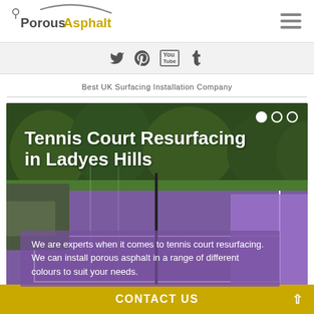[Figure (logo): Porous Asphalt logo with stylized arch above text. 'Porous' in dark grey bold, 'Asphalt' in golden/yellow bold.]
[Figure (infographic): Social media icons bar: Twitter bird, Pinterest P, YouTube, Tumblr t icons on light grey background.]
Best UK Surfacing Installation Company
[Figure (photo): Hero image of a purple/green tennis court with trees in background. Overlaid white bold title text 'Tennis Court Resurfacing in Ladyes Hills' and a semi-transparent purple box with description text.]
Tennis Court Resurfacing in Ladyes Hills
We are experts when it comes to tennis court resurfacing. We can install porous asphalt in a range of different colours to suit your needs.
CONTACT US